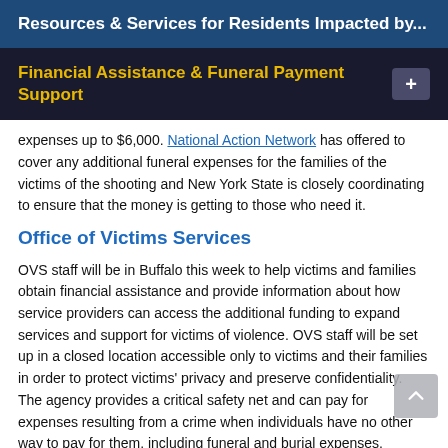Resources & Services for Residents Impacted by...
Financial Assistance & Funeral Payment Support
expenses up to $6,000. National Action Network has offered to cover any additional funeral expenses for the families of the victims of the shooting and New York State is closely coordinating to ensure that the money is getting to those who need it.
Office of Victims Services
OVS staff will be in Buffalo this week to help victims and families obtain financial assistance and provide information about how service providers can access the additional funding to expand services and support for victims of violence. OVS staff will be set up in a closed location accessible only to victims and their families in order to protect victims' privacy and preserve confidentiality. The agency provides a critical safety net and can pay for expenses resulting from a crime when individuals have no other way to pay for them, including funeral and burial expenses, medical and counseling costs, among other expenses, and can assist victims and families with lost wages and loss of support.